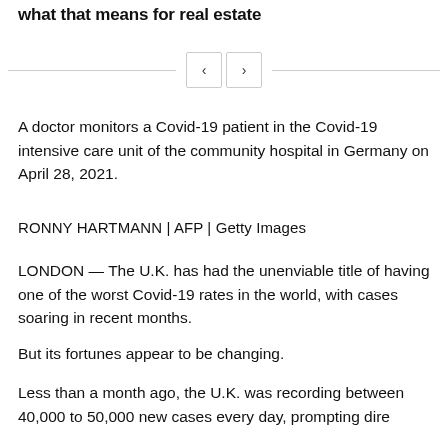what that means for real estate
[Figure (other): Navigation arrows (previous/next) with horizontal rule lines on either side]
A doctor monitors a Covid-19 patient in the Covid-19 intensive care unit of the community hospital in Germany on April 28, 2021.
RONNY HARTMANN | AFP | Getty Images
LONDON — The U.K. has had the unenviable title of having one of the worst Covid-19 rates in the world, with cases soaring in recent months.
But its fortunes appear to be changing.
Less than a month ago, the U.K. was recording between 40,000 to 50,000 new cases every day, prompting dire